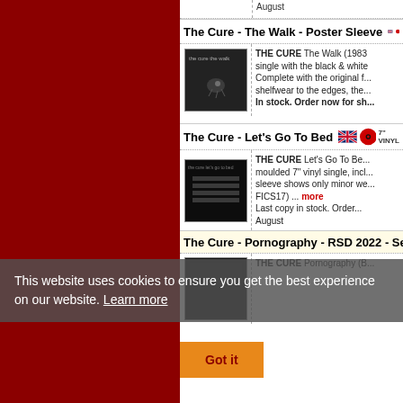August
The Cure - The Walk - Poster Sleeve
[Figure (photo): The Cure - The Walk album art, dark image with insect]
THE CURE The Walk (1983 UK...) single with the black & white... Complete with the original f... shelfwear to the edges, the... In stock. Order now for sh...
The Cure - Let's Go To Bed
[Figure (photo): The Cure - Let's Go To Bed album art, dark image with horizontal lines]
THE CURE Let's Go To Be... moulded 7" vinyl single, incl... sleeve shows only minor we... FICS17) ... more. Last copy in stock. Order... August
The Cure - Pornography - RSD 2022 - Seal...
[Figure (photo): The Cure - Pornography album art partial view]
THE CURE Pornography (B...
This website uses cookies to ensure you get the best experience on our website. Learn more
Got it